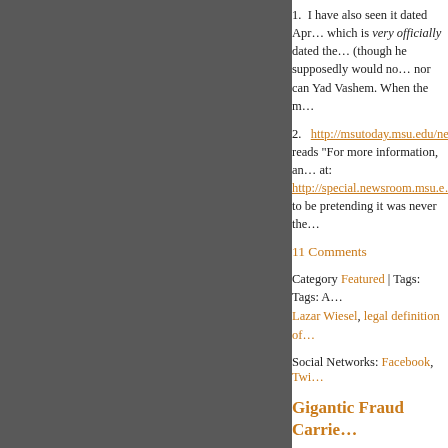1.  I have also seen it dated Apr… which is very officially dated the… (though he supposedly would no… nor can Yad Vashem. When the m…
2.   http://msutoday.msu.edu/new… reads "For more information, an… at: http://special.newsroom.msu.e… to be pretending it was never the…
11 Comments
Category Featured | Tags: Tags: A… Lazar Wiesel, legal definition of…
Social Networks: Facebook, Twi…
Gigantic Fraud Carrie…
Monday, September 12th, 2011
By Carolyn Yeager
Proof that the man in th…
With the help of the Ne… backers did not shy away… photo as belonging to El…